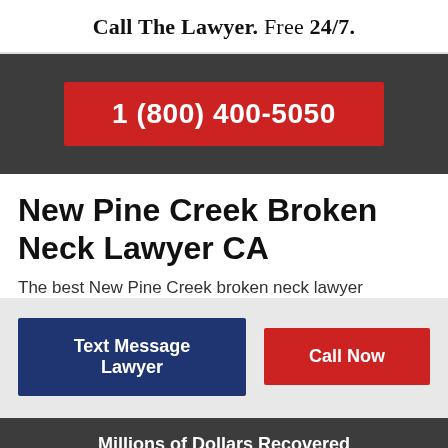Call The Lawyer. Free 24/7.
1 (800) 400-5050
New Pine Creek Broken Neck Lawyer CA
The best New Pine Creek broken neck lawyer
Text Message Lawyer
Call Now
Millions of Dollars Recovered